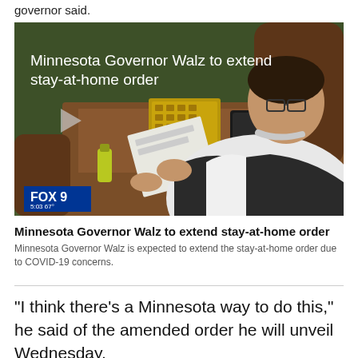governor said.
[Figure (screenshot): Fox 9 news video thumbnail showing Minnesota Governor Walz reading papers at a desk, wearing a mask around his neck. Overlay text reads 'Minnesota Governor Walz to extend stay-at-home order'. Fox 9 logo bug in lower left with timestamp 5:03, 67°.]
Minnesota Governor Walz to extend stay-at-home order
Minnesota Governor Walz is expected to extend the stay-at-home order due to COVID-19 concerns.
“I think there’s a Minnesota way to do this,” he said of the amended order he will unveil Wednesday.